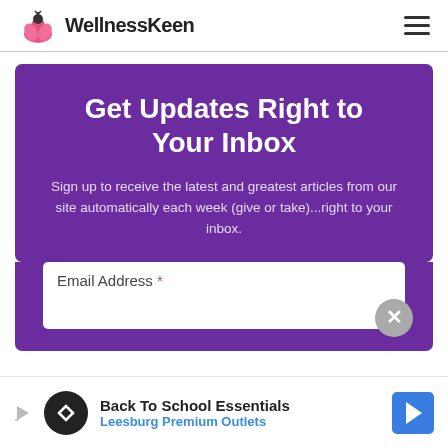WellnessKeen
Get Updates Right to Your Inbox
Sign up to receive the latest and greatest articles from our site automatically each week (give or take)...right to your inbox.
Email Address *
[Figure (infographic): Bottom advertisement bar: Back To School Essentials - Leesburg Premium Outlets]